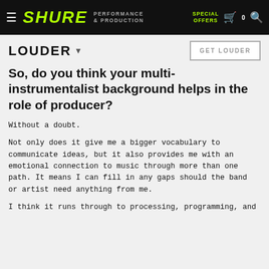SHURE | PERFORMANCE & PRODUCTION | SPECIAL OFFERS | Cart 0 | Search
LOUDER
So, do you think your multi-instrumentalist background helps in the role of producer?
Without a doubt.
Not only does it give me a bigger vocabulary to communicate ideas, but it also provides me with an emotional connection to music through more than one path. It means I can fill in any gaps should the band or artist need anything from me.
I think it runs through to processing, programming, and